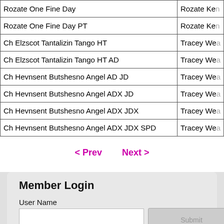| Name | Owner |
| --- | --- |
| Rozate One Fine Day | Rozate Ke... |
| Rozate One Fine Day PT | Rozate Ke... |
| Ch Elzscot Tantalizin Tango HT | Tracey We... |
| Ch Elzscot Tantalizin Tango HT AD | Tracey We... |
| Ch Hevnsent Butshesno Angel AD JD | Tracey We... |
| Ch Hevnsent Butshesno Angel ADX JD | Tracey We... |
| Ch Hevnsent Butshesno Angel ADX JDX | Tracey We... |
| Ch Hevnsent Butshesno Angel ADX JDX SPD | Tracey We... |
< Prev   Next >
Member Login
User Name
Password